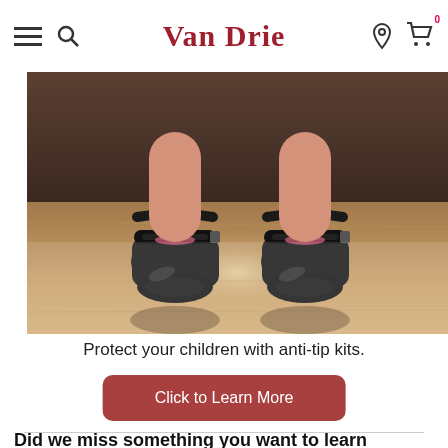Van Drie
[Figure (photo): Close-up photo of a child's feet wearing black mary jane shoes with velcro straps, dangling above a wooden floor with a dark sofa visible in the background.]
Protect your children with anti-tip kits.
Click to Learn More
Did we miss something you want to learn